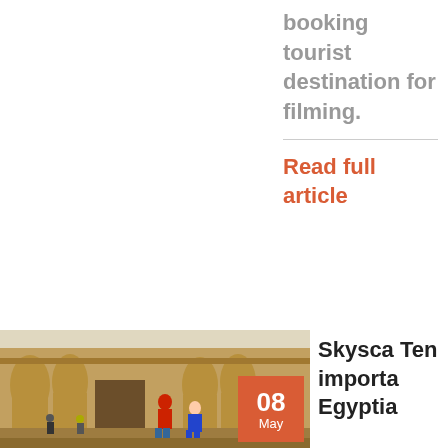booking tourist destination for filming.
Read full article
[Figure (photo): Photo of Abu Simbel temple in Egypt with tourists in foreground, date badge showing 08 May]
Skysca Ten importa Egyptia